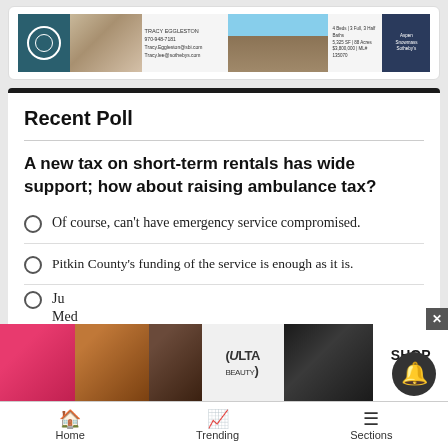[Figure (photo): Real estate advertisement banner with a couple's photo, property listing details, and Sotheby's branding]
Recent Poll
A new tax on short-term rentals has wide support; how about raising ambulance tax?
Of course, can't have emergency service compromised.
Pitkin County's funding of the service is enough as it is.
Just
[Figure (photo): ULTA Beauty advertisement banner with makeup and cosmetics imagery showing lips, brushes, eyes, logo, and SHOP NOW call to action]
Home   Trending   Sections